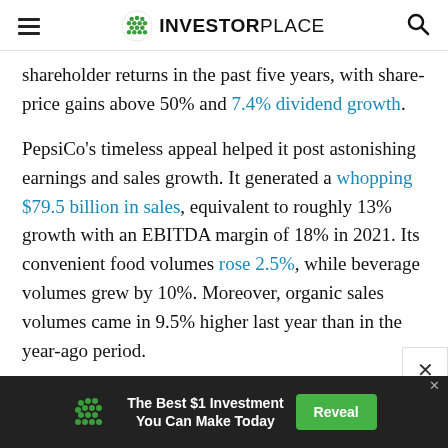INVESTORPLACE
shareholder returns in the past five years, with share-price gains above 50% and 7.4% dividend growth.
PepsiCo’s timeless appeal helped it post astonishing earnings and sales growth. It generated a whopping $79.5 billion in sales, equivalent to roughly 13% growth with an EBITDA margin of 18% in 2021. Its convenient food volumes rose 2.5%, while beverage volumes grew by 10%. Moreover, organic sales volumes came in 9.5% higher last year than in the year-ago period.
The inelasticity of its products is such that it can
[Figure (other): Advertisement banner: green dot logo, text 'The Best $1 Investment You Can Make Today', green 'Reveal' button, close X button]